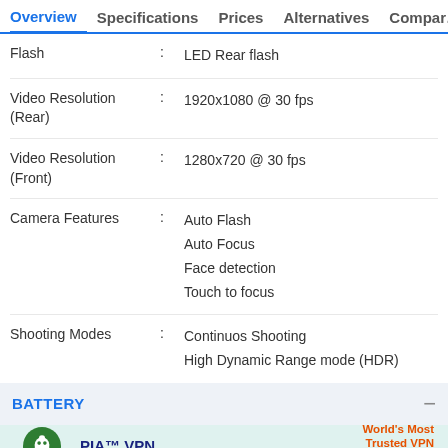Overview  Specifications  Prices  Alternatives  Compar…
| Feature |  | Value |
| --- | --- | --- |
| Flash | : | LED Rear flash |
| Video Resolution (Rear) | : | 1920x1080 @ 30 fps |
| Video Resolution (Front) | : | 1280x720 @ 30 fps |
| Camera Features | : | Auto Flash
Auto Focus
Face detection
Touch to focus |
| Shooting Modes | : | Continuos Shooting
High Dynamic Range mode (HDR) |
BATTERY
[Figure (other): PIA VPN advertisement banner: Private Internet Access logo, text 'PIA™ VPN Official Site', tagline 'World's Most Trusted VPN', orange arrow button]